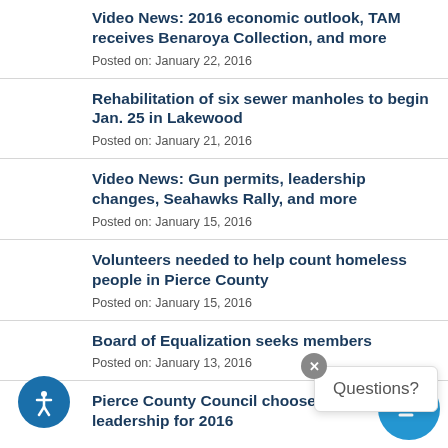Video News: 2016 economic outlook, TAM receives Benaroya Collection, and more
Posted on: January 22, 2016
Rehabilitation of six sewer manholes to begin Jan. 25 in Lakewood
Posted on: January 21, 2016
Video News: Gun permits, leadership changes, Seahawks Rally, and more
Posted on: January 15, 2016
Volunteers needed to help count homeless people in Pierce County
Posted on: January 15, 2016
Board of Equalization seeks members
Posted on: January 13, 2016
Pierce County Council chooses new leadership for 2016